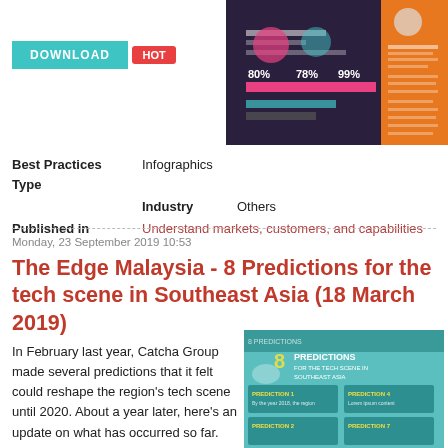[Figure (infographic): Teal download button at top left, HOT badge below it, and infographic thumbnail on the right side of the top area]
Best Practices Type    Infographics
Industry    Others
Published in    Understand markets, customers, and capabilities
Monday, 23 September 2019 10:53
The Edge Malaysia - 8 Predictions for the tech scene in Southeast Asia (18 March 2019)
In February last year, Catcha Group made several predictions that it felt could reshape the region's tech scene until 2020. About a year later, here's an update on what has occurred so far.
[Figure (infographic): 8 Predictions for the tech scene in Southeast Asia infographic thumbnail]